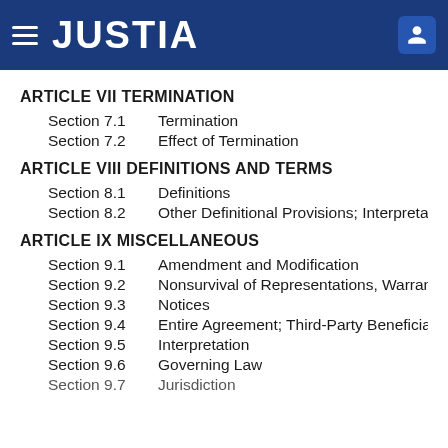JUSTIA
ARTICLE VII TERMINATION
Section 7.1    Termination
Section 7.2    Effect of Termination
ARTICLE VIII DEFINITIONS AND TERMS
Section 8.1    Definitions
Section 8.2    Other Definitional Provisions; Interpretation
ARTICLE IX MISCELLANEOUS
Section 9.1    Amendment and Modification
Section 9.2    Nonsurvival of Representations, Warranties
Section 9.3    Notices
Section 9.4    Entire Agreement; Third-Party Beneficiaries
Section 9.5    Interpretation
Section 9.6    Governing Law
Section 9.7    Jurisdiction